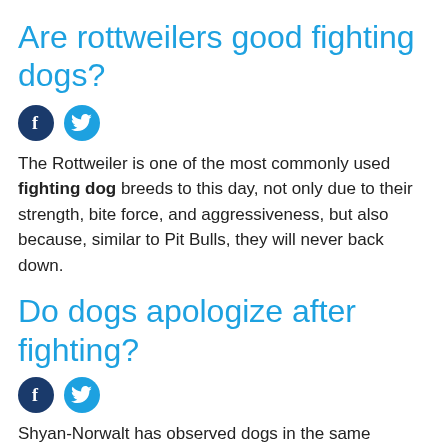Are rottweilers good fighting dogs?
[Figure (other): Social sharing icons: Facebook (dark blue circle with 'f') and Twitter (light blue circle with bird icon)]
The Rottweiler is one of the most commonly used fighting dog breeds to this day, not only due to their strength, bite force, and aggressiveness, but also because, similar to Pit Bulls, they will never back down.
Do dogs apologize after fighting?
[Figure (other): Social sharing icons: Facebook (dark blue circle with 'f') and Twitter (light blue circle with bird icon)]
Shyan-Norwalt has observed dogs in the same